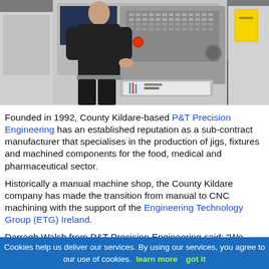[Figure (photo): A person in a black polo shirt operating a CNC machine control panel in a manufacturing facility. The large grey CNC machine has a complex button interface panel. A yellow warning label is visible on the right side of the machine.]
Founded in 1992, County Kildare-based P&T Precision Engineering has an established reputation as a sub-contract manufacturer that specialises in the production of jigs, fixtures and machined components for the food, medical and pharmaceutical sector.
Historically a manual machine shop, the County Kildare company has made the transition from manual to CNC machining with the support of the Engineering Technology Group (ETG) Ireland.
Darragh Walsh from P&T Precision Engineering said: “We were a small family company with six employees and we
Cookies help us deliver our services. By using our services, you agree to our use of cookies. learn more   got it